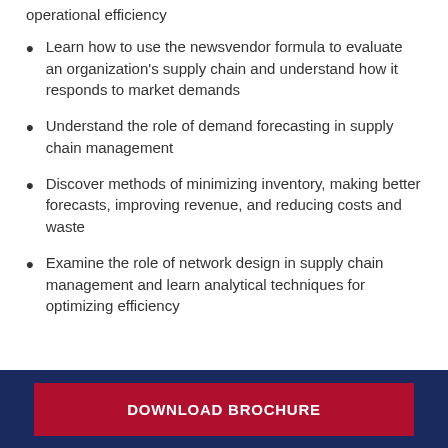operational efficiency
Learn how to use the newsvendor formula to evaluate an organization's supply chain and understand how it responds to market demands
Understand the role of demand forecasting in supply chain management
Discover methods of minimizing inventory, making better forecasts, improving revenue, and reducing costs and waste
Examine the role of network design in supply chain management and learn analytical techniques for optimizing efficiency
DOWNLOAD BROCHURE